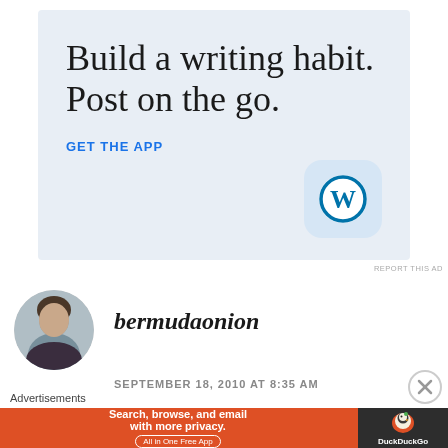[Figure (illustration): WordPress app advertisement banner with light blue background. Large serif text reads 'Build a writing habit. Post on the go.' with a blue 'GET THE APP' call to action link, and the WordPress 'W' app icon in a rounded-rectangle button on the right.]
REPORT THIS AD
[Figure (photo): Circular avatar photo of a woman with dark hair.]
bermudaonion
SEPTEMBER 18, 2010 AT 8:35 AM
Advertisements
[Figure (illustration): DuckDuckGo advertisement banner with orange background. Text: 'Search, browse, and email with more privacy. All in One Free App'. DuckDuckGo logo on dark right panel.]